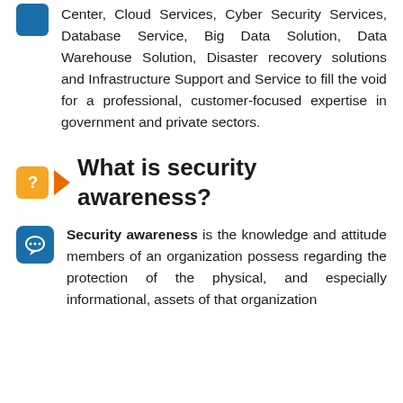Center, Cloud Services, Cyber Security Services, Database Service, Big Data Solution, Data Warehouse Solution, Disaster recovery solutions and Infrastructure Support and Service to fill the void for a professional, customer-focused expertise in government and private sectors.
What is security awareness?
Security awareness is the knowledge and attitude members of an organization possess regarding the protection of the physical, and especially informational, assets of that organization